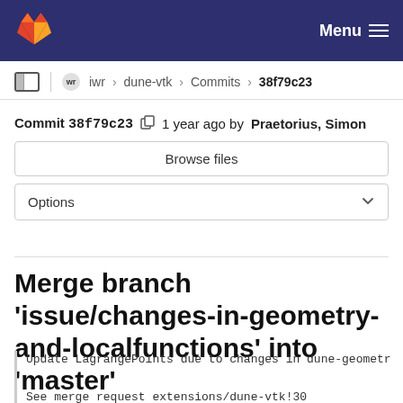Menu
iwr > dune-vtk > Commits > 38f79c23
Commit 38f79c23  1 year ago by Praetorius, Simon
Browse files
Options
Merge branch 'issue/changes-in-geometry-and-localfunctions' into 'master'
Update LagrangePoints due to changes in dune-geometr

See merge request extensions/dune-vtk!30